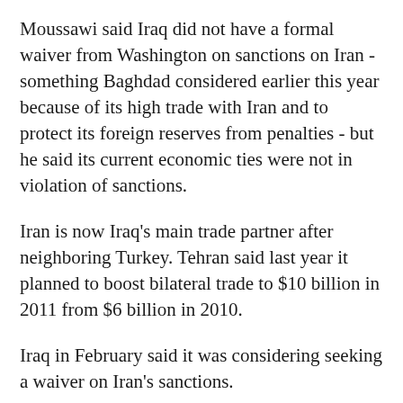Moussawi said Iraq did not have a formal waiver from Washington on sanctions on Iran - something Baghdad considered earlier this year because of its high trade with Iran and to protect its foreign reserves from penalties - but he said its current economic ties were not in violation of sanctions.
Iran is now Iraq's main trade partner after neighboring Turkey. Tehran said last year it planned to boost bilateral trade to $10 billion in 2011 from $6 billion in 2010.
Iraq in February said it was considering seeking a waiver on Iran's sanctions.
Under the U.S. law, Washington can exempt institutions in a country that has significantly reduced